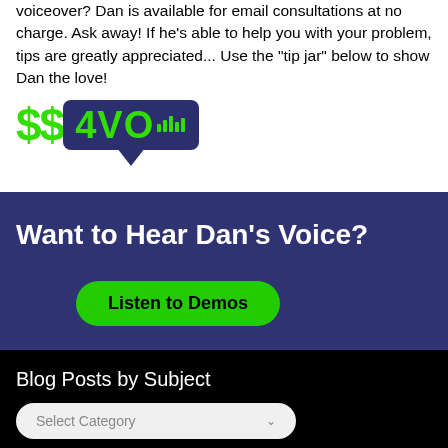voiceover? Dan is available for email consultations at no charge. Ask away! If he's able to help you with your problem, tips are greatly appreciated... Use the "tip jar" below to show Dan the love!
[Figure (logo): $$4VO logo with green dollar signs and dark blue badge with bar chart icon]
Want to Hear Dan's Voice?
Listen to Demos
Blog Posts by Subject
Select Category